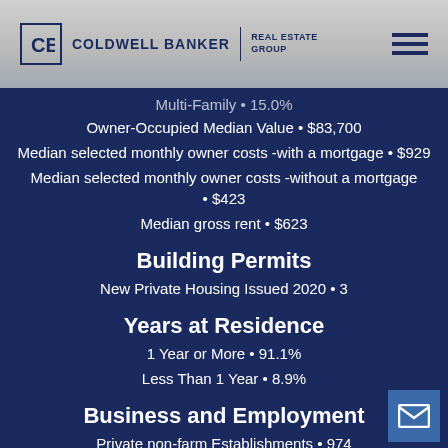Coldwell Banker Real Estate Group
Multi-Family • 15.0%
Owner-Occupied Median Value • $83,700
Median selected monthly owner costs -with a mortgage • $929
Median selected monthly owner costs -without a mortgage • $423
Median gross rent • $623
Building Permits
New Private Housing Issued 2020 • 3
Years at Residence
1 Year or More • 91.1%
Less Than 1 Year • 8.9%
Business and Employment
Private non-farm Establishments • 974